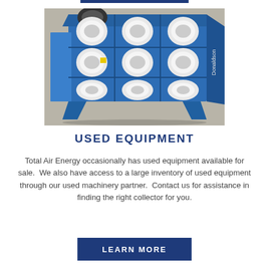[Figure (photo): Blue Donaldson industrial dust collector unit with 9 white cylindrical filter cartridges arranged in a 3x3 grid on the front face, standing on angled legs in front of a brick wall.]
USED EQUIPMENT
Total Air Energy occasionally has used equipment available for sale.  We also have access to a large inventory of used equipment through our used machinery partner.  Contact us for assistance in finding the right collector for you.
LEARN MORE